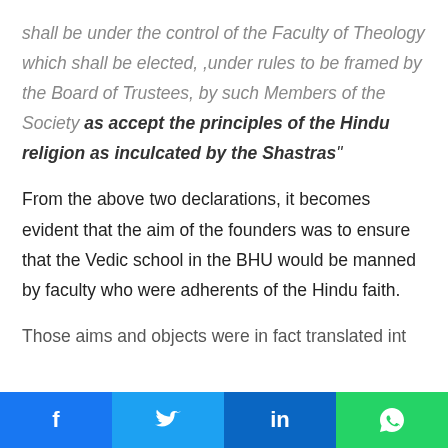shall be under the control of the Faculty of Theology which shall be elected, ,under rules to be framed by the Board of Trustees, by such Members of the Society as accept the principles of the Hindu religion as inculcated by the Shastras"
From the above two declarations, it becomes evident that the aim of the founders was to ensure that the Vedic school in the BHU would be manned by faculty who were adherents of the Hindu faith.
Those aims and objects were in fact translated int…
f  [Twitter bird]  in  [WhatsApp icon]